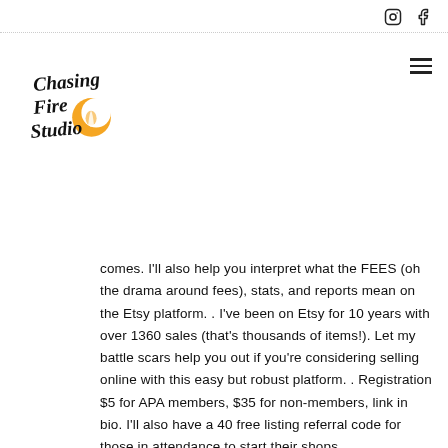[Instagram icon] [Facebook icon]
[Figure (logo): Chasing Fire Studio logo with flame/moon icon in orange and black script text]
comes. I'll also help you interpret what the FEES (oh the drama around fees), stats, and reports mean on the Etsy platform. . I've been on Etsy for 10 years with over 1360 sales (that's thousands of items!). Let my battle scars help you out if you're considering selling online with this easy but robust platform. . Registration $5 for APA members, $35 for non-members, link in bio. I'll also have a 40 free listing referral code for those in attendance to start their shops.
🧡 #EtsyCalgary #EtsyAlberta #Etsy